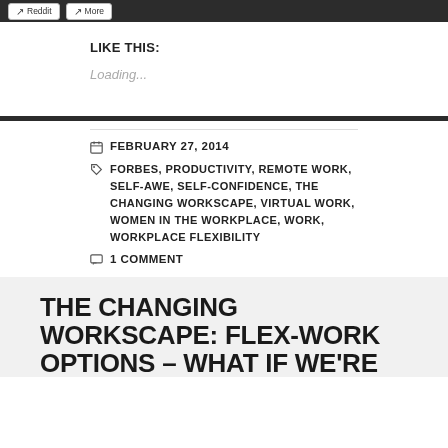Reddit  More
LIKE THIS:
Loading...
FEBRUARY 27, 2014
FORBES, PRODUCTIVITY, REMOTE WORK, SELF-AWE, SELF-CONFIDENCE, THE CHANGING WORKSCAPE, VIRTUAL WORK, WOMEN IN THE WORKPLACE, WORK, WORKPLACE FLEXIBILITY
1 COMMENT
THE CHANGING WORKSCAPE: FLEX-WORK OPTIONS – WHAT IF WE'RE